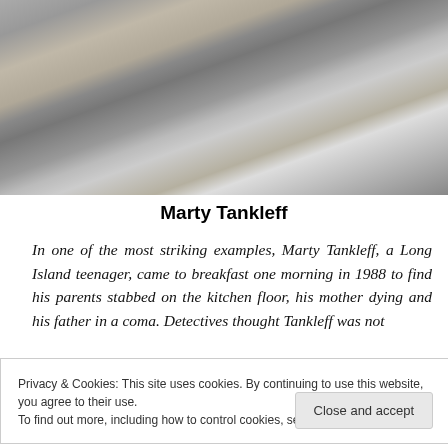[Figure (photo): Black and white photograph of a person, partially cropped, showing clothing fabric texture]
Marty Tankleff
In one of the most striking examples, Marty Tankleff, a Long Island teenager, came to breakfast one morning in 1988 to find his parents stabbed on the kitchen floor, his mother dying and his father in a coma. Detectives thought Tankleff was not
Privacy & Cookies: This site uses cookies. By continuing to use this website, you agree to their use.
To find out more, including how to control cookies, see here: Cookie Policy
consciousness). Shocked beyond reason, Tankleff